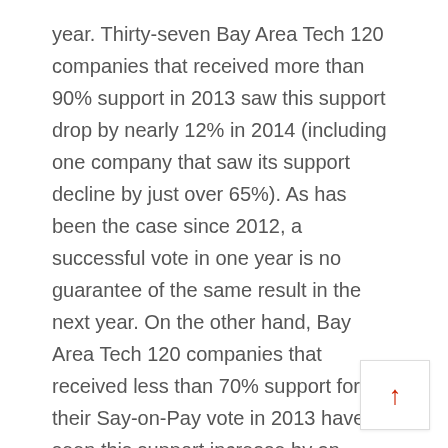year. Thirty-seven Bay Area Tech 120 companies that received more than 90% support in 2013 saw this support drop by nearly 12% in 2014 (including one company that saw its support decline by just over 65%). As has been the case since 2012, a successful vote in one year is no guarantee of the same result in the next year. On the other hand, Bay Area Tech 120 companies that received less than 70% support for their Say-on-Pay vote in 2013 have seen this support increase by an average of 18.1% in 2014.
Companies That Fail the Say-on-Pay Vote Can Reverse This Result in the Following Year. One Bay Area Tech 120 company that failed its Say-on-Pay Vote in 2013 saw support increase by 35% in 2014. This result was largely attributable to (a) improved financial